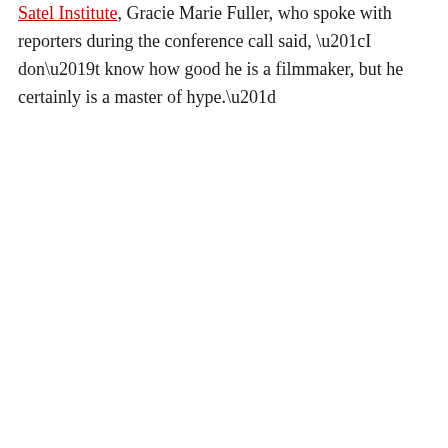Satel Institute, Gracie Marie Fuller, who spoke with reporters during the conference call said, “I don’t know how good he is a filmmaker, but he certainly is a master of hype.”